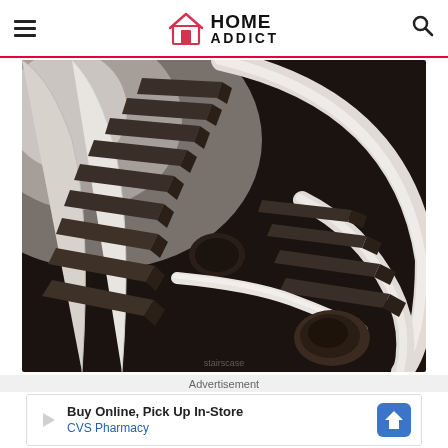HOME ADDICT
[Figure (photo): Aerial view of a modern spiral staircase with white curved railings and dark brown/black steps, photographed from above showing the helical descent]
Advertisement
Buy Online, Pick Up In-Store
CVS Pharmacy